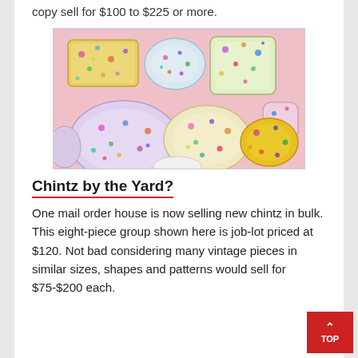copy sell for $100 to $225 or more.
[Figure (photo): Eight chintz ceramic pieces (plates, dishes, and oval trays) with floral patterns in multicolor on a pink background.]
Chintz by the Yard?
One mail order house is now selling new chintz in bulk. This eight-piece group shown here is job-lot priced at $120. Not bad considering many vintage pieces in similar sizes, shapes and patterns would sell for $75-$200 each.